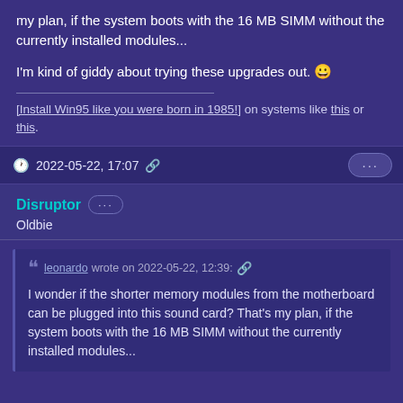my plan, if the system boots with the 16 MB SIMM without the currently installed modules...
I'm kind of giddy about trying these upgrades out. 😀
[Install Win95 like you were born in 1985!] on systems like this or this.
2022-05-22, 17:07 🔗
Disruptor
Oldbie
leonardo wrote on 2022-05-22, 12:39: 🔗 I wonder if the shorter memory modules from the motherboard can be plugged into this sound card? That's my plan, if the system boots with the 16 MB SIMM without the currently installed modules...